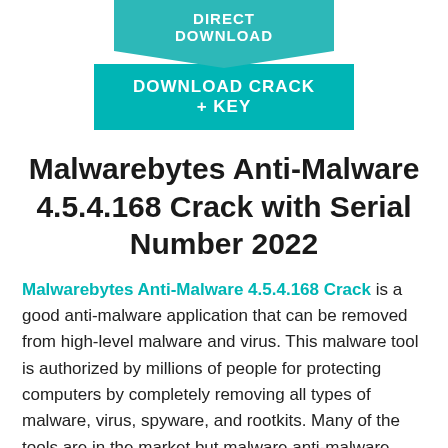[Figure (other): Teal downward-pointing ribbon button with text DIRECT DOWNLOAD]
[Figure (other): Teal rectangular button with text DOWNLOAD CRACK + KEY]
Malwarebytes Anti-Malware 4.5.4.168 Crack with Serial Number 2022
Malwarebytes Anti-Malware 4.5.4.168 Crack is a good anti-malware application that can be removed from high-level malware and virus. This malware tool is authorized by millions of people for protecting computers by completely removing all types of malware, virus, spyware, and rootkits. Many of the tools are in the market but malware anti-malware provides you ultimate protection. This tool is a good fighter against all types of